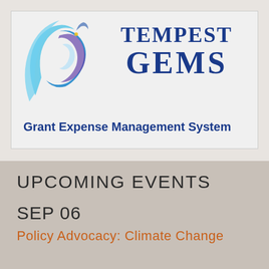[Figure (logo): Tempest GEMS (Grant Expense Management System) logo with swirl graphic and text]
UPCOMING EVENTS
SEP 06
Policy Advocacy: Climate Change